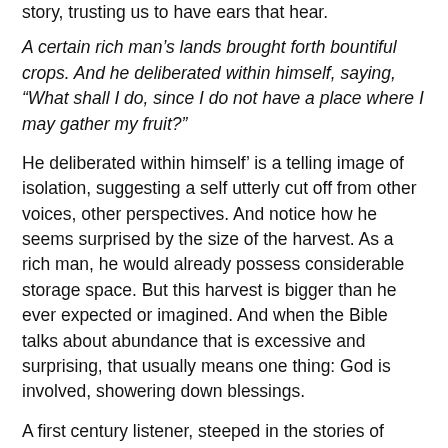story, trusting us to have ears that hear.
A certain rich man’s lands brought forth bountiful crops. And he deliberated within himself, saying, “What shall I do, since I do not have a place where I may gather my fruit?”
He deliberated within himself’ is a telling image of isolation, suggesting a self utterly cut off from other voices, other perspectives. And notice how he seems surprised by the size of the harvest. As a rich man, he would already possess considerable storage space. But this harvest is bigger than he ever expected or imagined. And when the Bible talks about abundance that is excessive and surprising, that usually means one thing: God is involved, showering down blessings.
A first century listener, steeped in the stories of God’s miracles of generosity, would have picked up on this. And